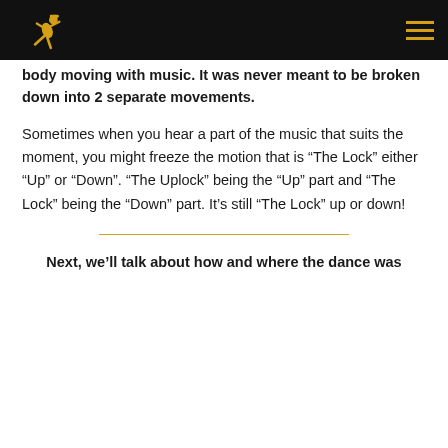[Logo and navigation menu]
body moving with music. It was never meant to be broken down into 2 separate movements.
Sometimes when you hear a part of the music that suits the moment, you might freeze the motion that is “The Lock” either “Up” or “Down”. “The Uplock” being the “Up” part and “The Lock” being the “Down” part. It’s still “The Lock” up or down!
Next, we’ll talk about how and where the dance was